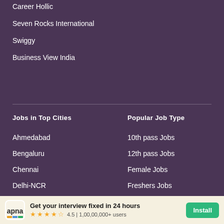Career Hollic
Seven Rocks International
Swiggy
Business View India
Jobs in Top Cities
Popular Job Type
Ahmedabad
10th pass Jobs
Bengaluru
12th pass Jobs
Chennai
Female Jobs
Delhi-NCR
Freshers Jobs
Hyderabad
Full Time Jobs
Jaipur
Night Shift Jobs
Kolkata
Part Time Jobs
Mumbai
Work From Home Jobs
Pune
Surat
Get your interview fixed in 24 hours
4.5 | 1,00,00,000+ users